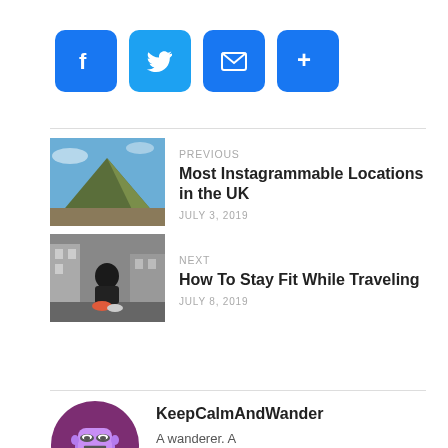[Figure (other): Social share buttons: Facebook, Twitter, Email, More]
[Figure (photo): Mountain rocky peak landscape - previous article thumbnail]
PREVIOUS
Most Instagrammable Locations in the UK
JULY 3, 2019
[Figure (photo): Man tying shoelaces on street - next article thumbnail]
NEXT
How To Stay Fit While Traveling
JULY 8, 2019
[Figure (illustration): Purple cartoon character avatar for author KeepCalmAndWander]
KeepCalmAndWander
A wanderer. A frustrated